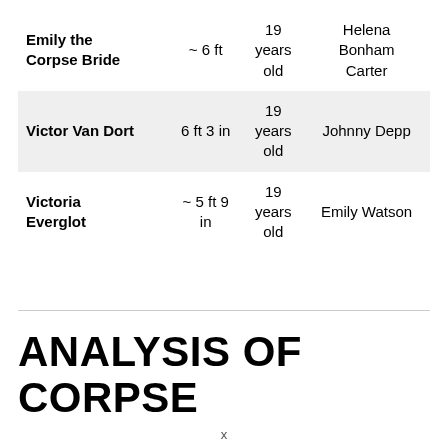| Character | Height | Age | Voice Actor |
| --- | --- | --- | --- |
| Emily the Corpse Bride | ~ 6 ft | 19 years old | Helena Bonham Carter |
| Victor Van Dort | 6 ft 3 in | 19 years old | Johnny Depp |
| Victoria Everglot | ~ 5 ft 9 in | 19 years old | Emily Watson |
ANALYSIS OF CORPSE